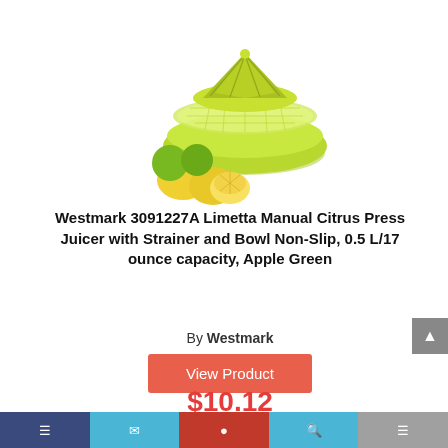[Figure (photo): Green citrus juicer/press with strainer bowl and lemons/limes alongside]
Westmark 3091227A Limetta Manual Citrus Press Juicer with Strainer and Bowl Non-Slip, 0.5 L/17 ounce capacity, Apple Green
By Westmark
View Product
$10.12
Prime